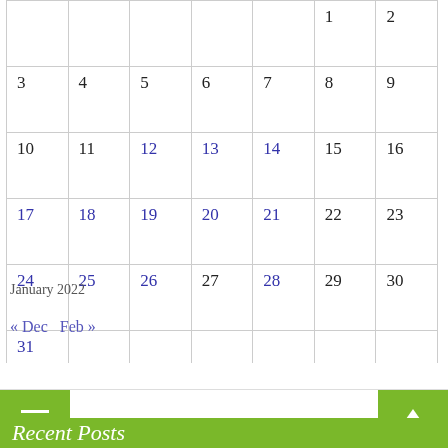| Sun | Mon | Tue | Wed | Thu | Fri | Sat |
| --- | --- | --- | --- | --- | --- | --- |
|  |  |  |  |  | 1 | 2 |
| 3 | 4 | 5 | 6 | 7 | 8 | 9 |
| 10 | 11 | 12 | 13 | 14 | 15 | 16 |
| 17 | 18 | 19 | 20 | 21 | 22 | 23 |
| 24 | 25 | 26 | 27 | 28 | 29 | 30 |
| 31 |  |  |  |  |  |  |
January 2022
« Dec   Feb »
Recent Posts